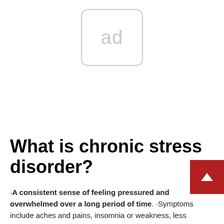[Figure (other): Advertisement placeholder box with rounded corners and the text 'ad' in gray]
What is chronic stress disorder?
·A consistent sense of feeling pressured and overwhelmed over a long period of time. ·Symptoms include aches and pains, insomnia or weakness, less socialization, unfocused thinking.
What are some